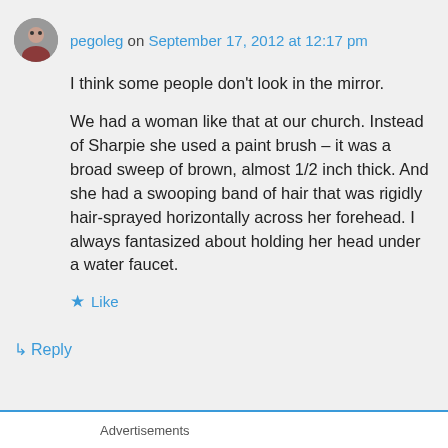pegoleg on September 17, 2012 at 12:17 pm
I think some people don't look in the mirror.
We had a woman like that at our church. Instead of Sharpie she used a paint brush – it was a broad sweep of brown, almost 1/2 inch thick. And she had a swooping band of hair that was rigidly hair-sprayed horizontally across her forehead. I always fantasized about holding her head under a water faucet.
Like
Reply
Advertisements